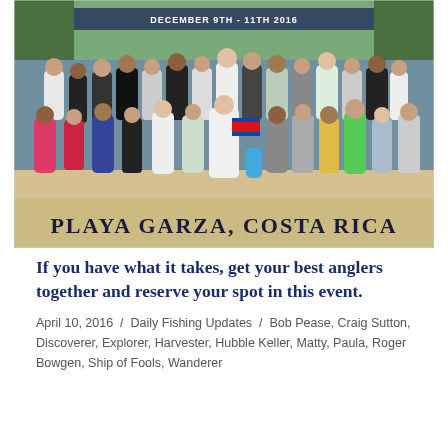[Figure (photo): Group photo of anglers on a beach at Playa Garza, Costa Rica. A large crowd of people standing and kneeling on sandy beach with palm trees in background. Some hold a Costa Rica flag. Text overlay reads 'PLAYA GARZA, COSTA RICA'. Partially visible banner at top reads 'DECEMBER 9TH - 11TH 2016'.]
If you have what it takes, get your best anglers together and reserve your spot in this event.
April 10, 2016 / Daily Fishing Updates / Bob Pease, Craig Sutton, Discoverer, Explorer, Harvester, Hubble Keller, Matty, Paula, Roger Bowgen, Ship of Fools, Wanderer